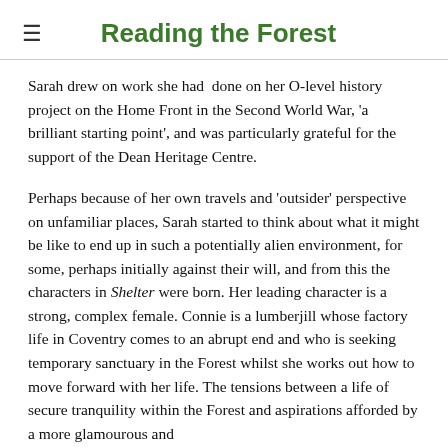Reading the Forest
Sarah drew on work she had  done on her O-level history project on the Home Front in the Second World War, 'a brilliant starting point', and was particularly grateful for the support of the Dean Heritage Centre.
Perhaps because of her own travels and 'outsider' perspective on unfamiliar places, Sarah started to think about what it might be like to end up in such a potentially alien environment, for some, perhaps initially against their will, and from this the characters in Shelter were born. Her leading character is a strong, complex female. Connie is a lumberjill whose factory life in Coventry comes to an abrupt end and who is seeking temporary sanctuary in the Forest whilst she works out how to move forward with her life. The tensions between a life of secure tranquility within the Forest and aspirations afforded by a more glamourous and